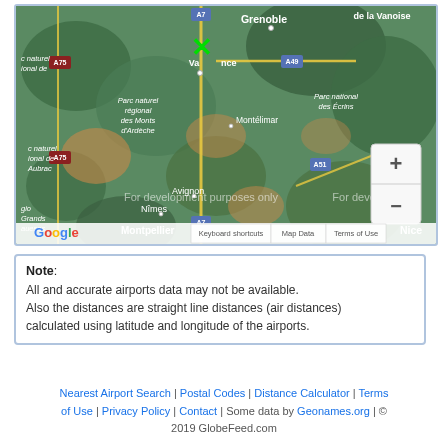[Figure (map): Google Maps screenshot showing southern France including cities Grenoble, Valence, Montélimar, Avignon, Nîmes, Montpellier, Nice. Green X marker placed near Valence. Highways A7, A49, A75, A51 visible. Map shows 'For development purposes only' watermark. Zoom controls (+/-) visible on right side. Google logo and map controls at bottom.]
Note: All and accurate airports data may not be available. Also the distances are straight line distances (air distances) calculated using latitude and longitude of the airports.
Nearest Airport Search | Postal Codes | Distance Calculator | Terms of Use | Privacy Policy | Contact | Some data by Geonames.org | © 2019 GlobeFeed.com